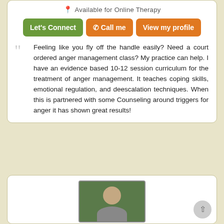Available for Online Therapy
Let's Connect | Call me | View my profile
Feeling like you fly off the handle easily? Need a court ordered anger management class? My practice can help. I have an evidence based 10-12 session curriculum for the treatment of anger management. It teaches coping skills, emotional regulation, and deescalation techniques. When this is partnered with some Counseling around triggers for anger it has shown great results!
[Figure (photo): Portrait photo of a person with dark hair against a green outdoor background]